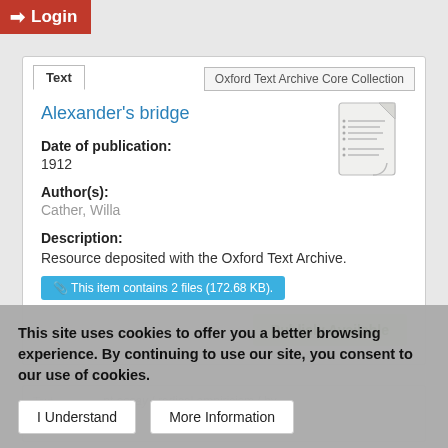Login
Text | Oxford Text Archive Core Collection
Alexander's bridge
Date of publication:
1912
Author(s):
Cather, Willa
Description:
Resource deposited with the Oxford Text Archive.
This item contains 2 files (172.68 KB).
Publicly Available
This site uses cookies to offer you a better browsing experience. By continuing to use our site, you consent to our use of cookies.
I Understand
More Information